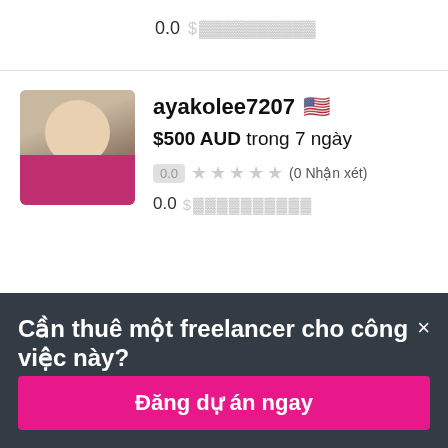0.0  $ ▓▓▓▓▓▓▓▓▓▓
[Figure (photo): Profile photo of ayakolee7207, woman with blonde hair and red top]
ayakolee7207 🇺🇸
$500 AUD trong 7 ngày
0.0 ★★★★★ (0 Nhận xét)
0.0  $ ▓▓▓▓▓▓▓▓▓▓
Cần thuê một freelancer cho công việc này? ×
Đăng dự án ngay